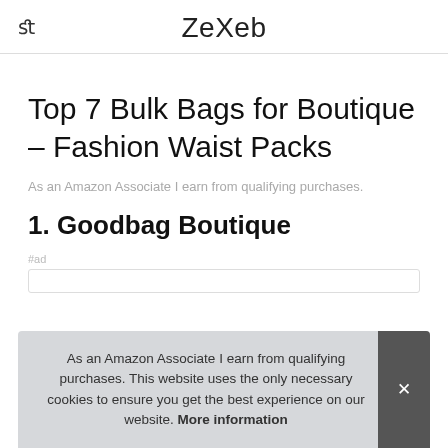ZeXeb
Top 7 Bulk Bags for Boutique – Fashion Waist Packs
As an Amazon Associate I earn from qualifying purchases.
1. Goodbag Boutique
#ad
As an Amazon Associate I earn from qualifying purchases. This website uses the only necessary cookies to ensure you get the best experience on our website. More information